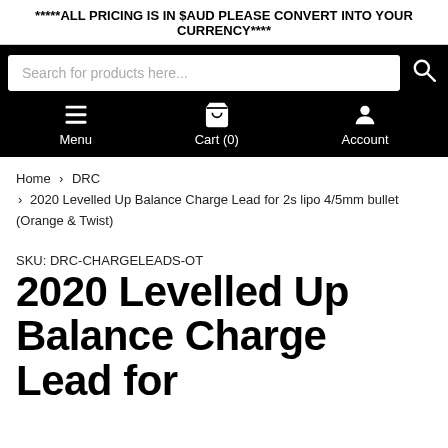*****ALL PRICING IS IN $AUD PLEASE CONVERT INTO YOUR CURRENCY****
[Figure (screenshot): E-commerce navigation bar with search input, Menu, Cart (0), and Account icons on black background]
Home > DRC > 2020 Levelled Up Balance Charge Lead for 2s lipo 4/5mm bullet (Orange & Twist)
SKU: DRC-CHARGELEADS-OT
2020 Levelled Up Balance Charge Lead for